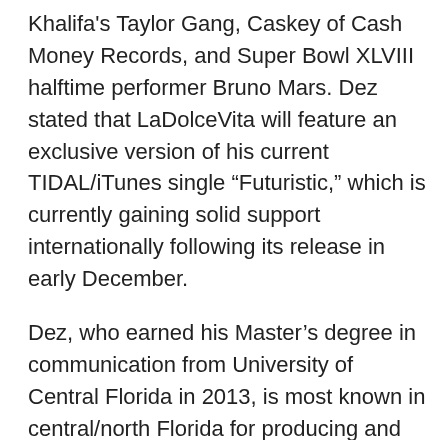Khalifa's Taylor Gang, Caskey of Cash Money Records, and Super Bowl XLVIII halftime performer Bruno Mars. Dez stated that LaDolceVita will feature an exclusive version of his current TIDAL/iTunes single “Futuristic,” which is currently gaining solid support internationally following its release in early December.
Dez, who earned his Master’s degree in communication from University of Central Florida in 2013, is most known in central/north Florida for producing and starring in “Life & Grind: Duval.” He regularly credits the show’s uniqueness in that it’s the only show in the U.S. that not only provides a first-person look into a select few artists’ and models’ active “lives and grinds” as they develop and work to “make it big,” but it also innovatively builds on his already notable buzz while using the regionally untapped television avenue to